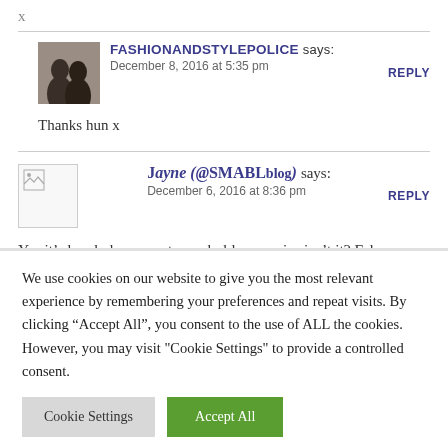x
FASHIONANDSTYLEPOLICE says:
December 8, 2016 at 5:35 pm
REPLY
Thanks hun x
Jayne (@SMABLblog) says:
December 6, 2016 at 8:36 pm
REPLY
Yes it’s lovely how scents can hold memories isn’t it? Fab selections here, I need to check them out. My favs at the moment are Eternity Calvin Klein
We use cookies on our website to give you the most relevant experience by remembering your preferences and repeat visits. By clicking “Accept All”, you consent to the use of ALL the cookies. However, you may visit "Cookie Settings" to provide a controlled consent.
Cookie Settings
Accept All